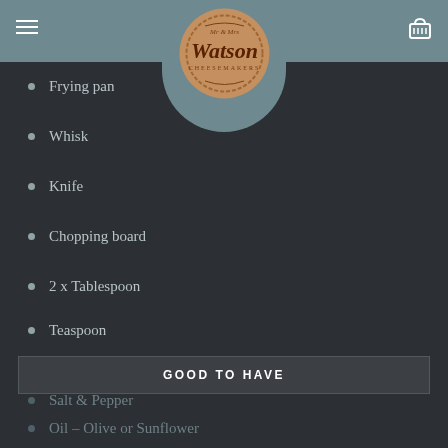Watson - header with logo
Frying pan
Whisk
Knife
Chopping board
2 x Tablespoon
Teaspoon
GOOD TO HAVE
Salt & Pepper
Oil – Olive or Sunflower
Extra fruits for with the cheese – For example grapes & Figs